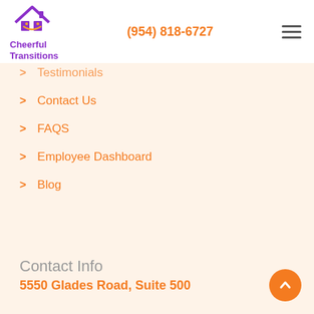[Figure (logo): Cheerful Transitions logo with house icon and purple/orange text]
(954) 818-6727
Testimonials
Contact Us
FAQS
Employee Dashboard
Blog
Contact Info
5550 Glades Road, Suite 500